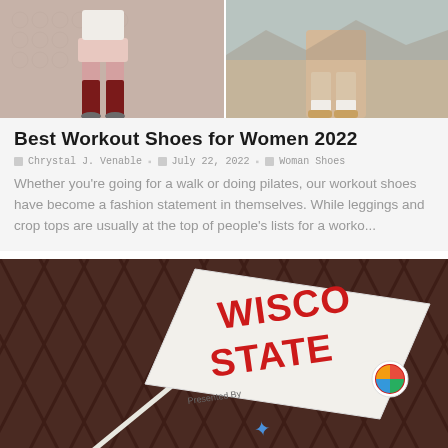[Figure (photo): Two photos of women wearing workout shoes side by side. Left photo shows woman in pink shorts with dark red knee-high socks. Right photo shows woman in outdoor setting wearing sneakers.]
Best Workout Shoes for Women 2022
🗓 Chrystal J. Venable  🗓 July 22, 2022  🗓 Woman Shoes
Whether you're going for a walk or doing pilates, our workout shoes have become a fashion statement in themselves. While leggings and crop tops are usually at the top of people's lists for a worko...
[Figure (photo): Photo of a white flag with red text 'WISCONSIN STATE' and a colorful circular logo, being held up in front of a dark metal lattice fence background. Text 'Presented By' visible on the flag.]